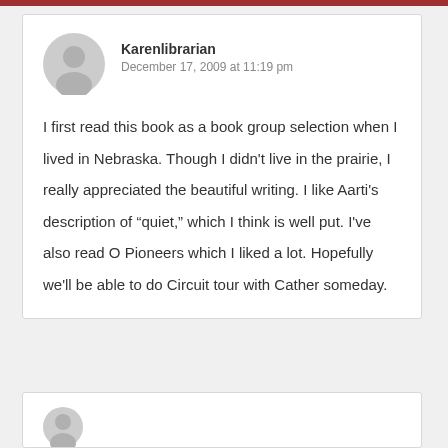Karenlibrarian
December 17, 2009 at 11:19 pm
I first read this book as a book group selection when I lived in Nebraska. Though I didn't live in the prairie, I really appreciated the beautiful writing. I like Aarti's description of “quiet,” which I think is well put. I've also read O Pioneers which I liked a lot. Hopefully we'll be able to do Circuit tour with Cather someday.